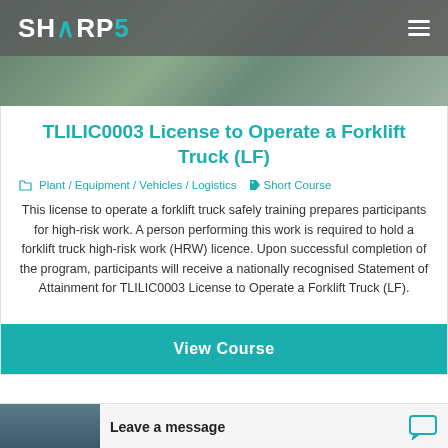SHARP5
TLILIC0003 License to Operate a Forklift Truck (LF)
Plant / Equipment / Vehicles / Logistics   Short Course
This license to operate a forklift truck safely training prepares participants for high-risk work. A person performing this work is required to hold a forklift truck high-risk work (HRW) licence. Upon successful completion of the program, participants will receive a nationally recognised Statement of Attainment for TLILIC0003 License to Operate a Forklift Truck (LF).
View Course
Leave a message